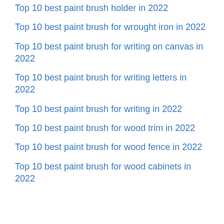Top 10 best paint brush holder in 2022
Top 10 best paint brush for wrought iron in 2022
Top 10 best paint brush for writing on canvas in 2022
Top 10 best paint brush for writing letters in 2022
Top 10 best paint brush for writing in 2022
Top 10 best paint brush for wood trim in 2022
Top 10 best paint brush for wood fence in 2022
Top 10 best paint brush for wood cabinets in 2022